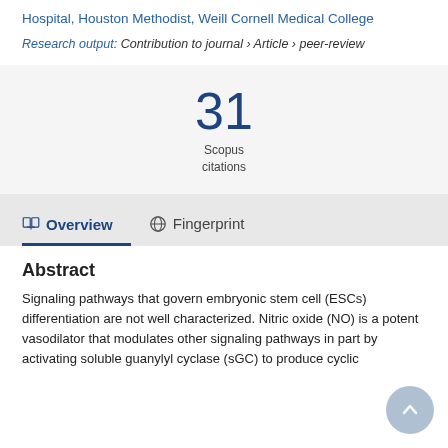Hospital, Houston Methodist, Weill Cornell Medical College
Research output: Contribution to journal › Article › peer-review
31 Scopus citations
Overview
Fingerprint
Abstract
Signaling pathways that govern embryonic stem cell (ESCs) differentiation are not well characterized. Nitric oxide (NO) is a potent vasodilator that modulates other signaling pathways in part by activating soluble guanylyl cyclase (sGC) to produce cyclic